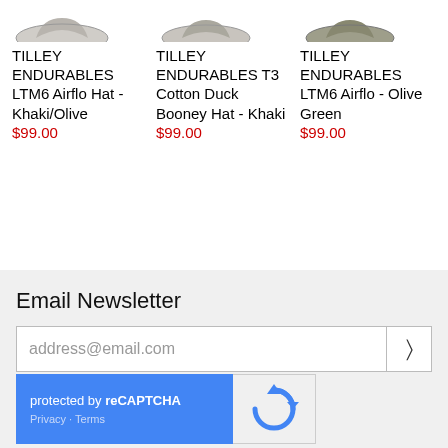[Figure (photo): Three Tilley hat product thumbnails shown at top of page (partially cropped)]
TILLEY ENDURABLES LTM6 Airflo Hat - Khaki/Olive $99.00
TILLEY ENDURABLES T3 Cotton Duck Booney Hat - Khaki $99.00
TILLEY ENDURABLES LTM6 Airflo - Olive Green $99.00
Email Newsletter
address@email.com
protected by reCAPTCHA Privacy · Terms